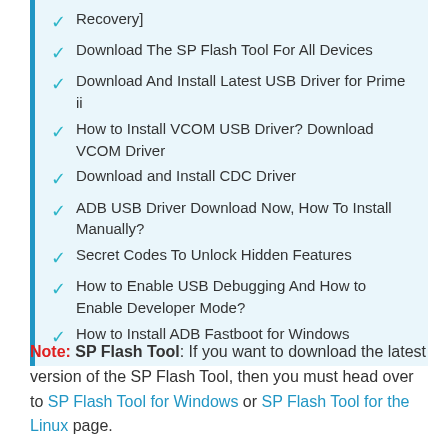Recovery]
Download The SP Flash Tool For All Devices
Download And Install Latest USB Driver for Prime ii
How to Install VCOM USB Driver? Download VCOM Driver
Download and Install CDC Driver
ADB USB Driver Download Now, How To Install Manually?
Secret Codes To Unlock Hidden Features
How to Enable USB Debugging And How to Enable Developer Mode?
How to Install ADB Fastboot for Windows
Note: SP Flash Tool: If you want to download the latest version of the SP Flash Tool, then you must head over to SP Flash Tool for Windows or SP Flash Tool for the Linux page.